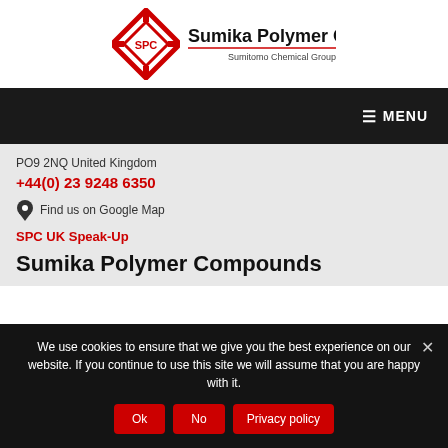[Figure (logo): Sumika Polymer Compounds logo with SPC diamond shape in red and black text reading 'Sumika Polymer Compounds' with 'Sumitomo Chemical Group' below]
≡ MENU
PO9 2NQ United Kingdom
+44(0) 23 9248 6350
Find us on Google Map
SPC UK Speak-Up
Sumika Polymer Compounds
We use cookies to ensure that we give you the best experience on our website. If you continue to use this site we will assume that you are happy with it.